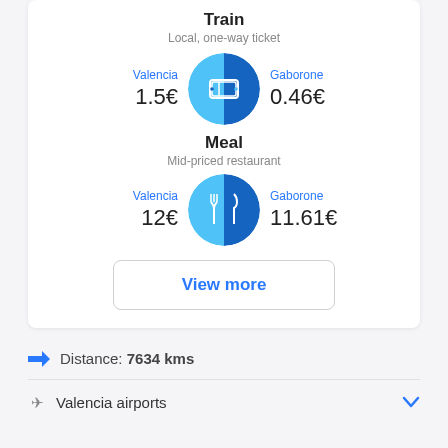Train
Local, one-way ticket
[Figure (infographic): Split blue circle icon with train ticket symbol. Left side lighter blue (Valencia 1.5€), right side darker blue (Gaborone 0.46€).]
Valencia 1.5€   Gaborone 0.46€
Meal
Mid-priced restaurant
[Figure (infographic): Split blue circle icon with fork and knife symbol. Left side lighter blue (Valencia 12€), right side darker blue (Gaborone 11.61€).]
Valencia 12€   Gaborone 11.61€
View more
Distance: 7634 kms
Valencia airports